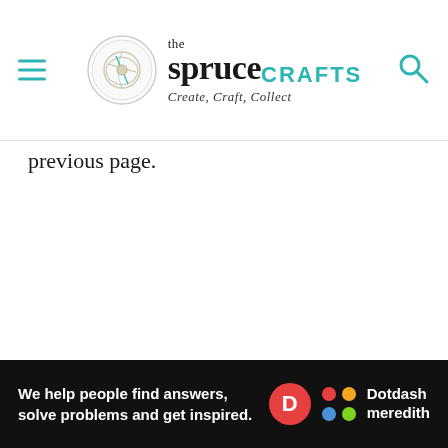[Figure (logo): The Spruce Crafts website header logo with hamburger menu icon on the left, a circular craft-themed logo, brand name 'the spruce CRAFTS' with tagline 'Create, Craft, Collect', and a search icon on the right.]
previous page.
[Figure (infographic): Dotdash Meredith advertisement banner with black background. Text reads 'We help people find answers, solve problems and get inspired.' with a red D circle logo and Dotdash meredith colored dots logo.]